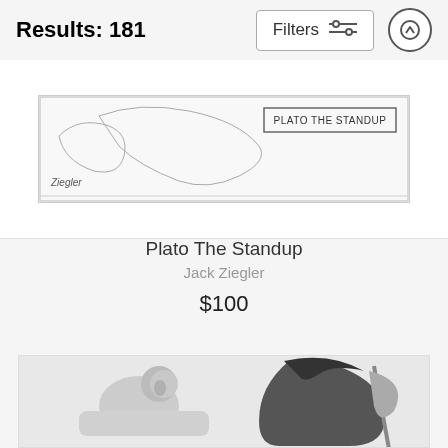Results: 181
[Figure (screenshot): Filters button with sliders icon and scroll-to-top arrow button]
[Figure (illustration): Partial view of a cartoon titled 'PLATO THE STANDUP' with sketch-style line art, signed by Ziegler]
Plato The Standup
Jack Ziegler
$100
[Figure (illustration): Pencil sketch cartoon showing a person in bed scared by the Grim Reaper holding a scythe, in black and white]